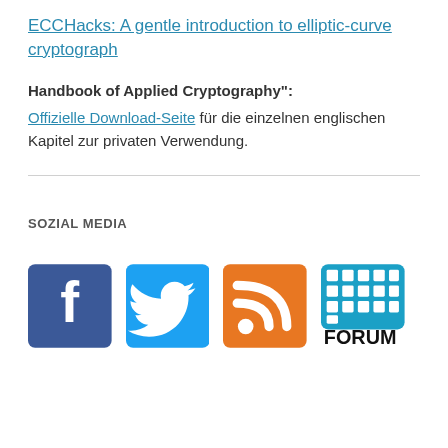ECCHacks: A gentle introduction to elliptic-curve cryptograph
Handbook of Applied Cryptography": Offizielle Download-Seite für die einzelnen englischen Kapitel zur privaten Verwendung.
SOZIAL MEDIA
[Figure (illustration): Social media icons: Facebook (blue square with f logo), Twitter (blue square with bird logo), RSS (orange square with RSS signal logo), Forum (teal square with grid logo and FORUM text)]